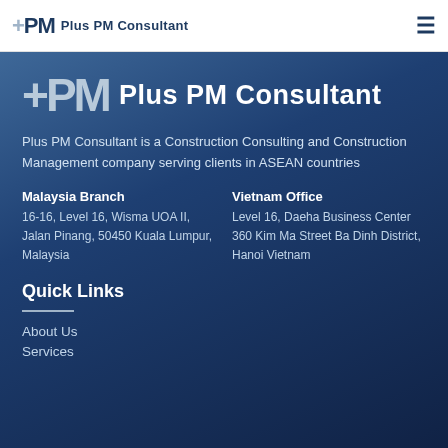+PM Plus PM Consultant
+PM Plus PM Consultant
Plus PM Consultant is a Construction Consulting and Construction Management company serving clients in ASEAN countries
Malaysia Branch
16-16, Level 16, Wisma UOA II, Jalan Pinang, 50450 Kuala Lumpur, Malaysia
Vietnam Office
Level 16, Daeha Business Center 360 Kim Ma Street Ba Dinh District, Hanoi Vietnam
Quick Links
About Us
Services